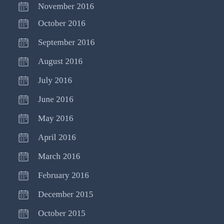November 2016
October 2016
September 2016
August 2016
July 2016
June 2016
May 2016
April 2016
March 2016
February 2016
December 2015
October 2015
September 2015
CATEGORIES